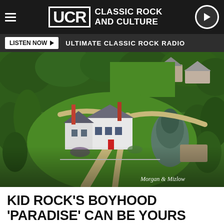UCR CLASSIC ROCK AND CULTURE
LISTEN NOW ▶   ULTIMATE CLASSIC ROCK RADIO
[Figure (photo): Aerial drone photo of a large white colonial-style house with multiple wings, surrounded by mature trees, green lawns, circular driveways, and neighboring houses visible in the background. Credit: Morgan & Mizlow]
Morgan & Mizlow
KID ROCK'S BOYHOOD 'PARADISE' CAN BE YOURS FOR $600,000